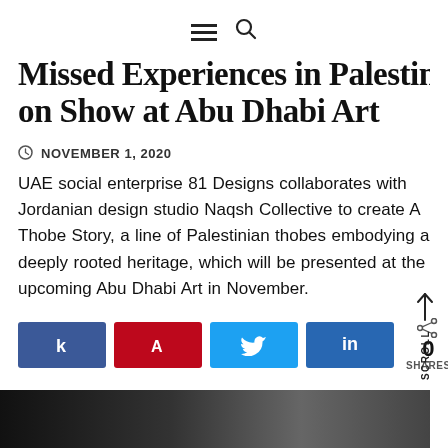[hamburger menu icon] [search icon]
Missed Experiences in Palestine on Show at Abu Dhabi Art
NOVEMBER 1, 2020
UAE social enterprise 81 Designs collaborates with Jordanian design studio Naqsh Collective to create A Thobe Story, a line of Palestinian thobes embodying a deeply rooted heritage, which will be presented at the upcoming Abu Dhabi Art in November.
[Figure (infographic): Social sharing buttons: Facebook (k), Pinterest (A), Twitter (bird icon), LinkedIn (in), and a share count showing 0 SHARES]
[Figure (photo): Dark photograph at the bottom of the page, partially visible, showing dark tones]